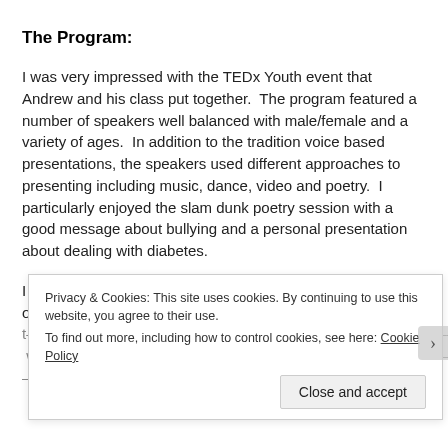The Program:
I was very impressed with the TEDx Youth event that Andrew and his class put together.  The program featured a number of speakers well balanced with male/female and a variety of ages.  In addition to the tradition voice based presentations, the speakers used different approaches to presenting including music, dance, video and poetry.  I particularly enjoyed the slam dunk poetry session with a good message about bullying and a personal presentation about dealing with diabetes.
I was struck by one common element over the evening.  All of t…
Privacy & Cookies: This site uses cookies. By continuing to use this website, you agree to their use.
To find out more, including how to control cookies, see here: Cookie Policy
Close and accept